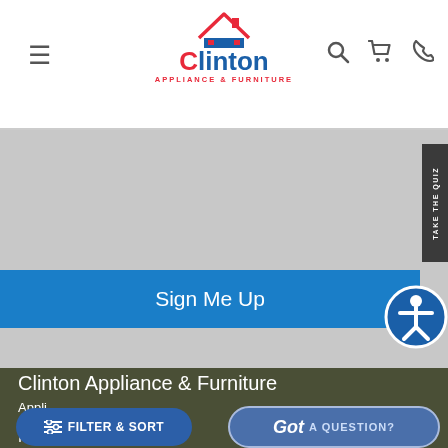[Figure (logo): Clinton Appliance & Furniture logo with house/roof icon in red and blue text]
[Figure (screenshot): Gray promotional banner area with 'Sign Me Up' blue button and dark side tab, plus circular accessibility icon]
Clinton Appliance & Furniture
Appli...
FILTER & SORT
Got A QUESTION?
Mattresses